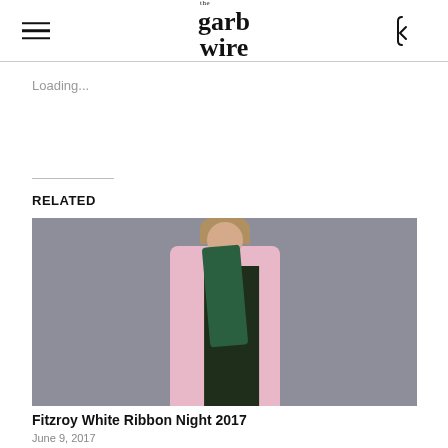the garb wire
Loading...
RELATED
[Figure (photo): A person wearing a pink blazer coat over a dark floral dress with a green scarf, standing against a grey background]
Fitzroy White Ribbon Night 2017
June 9, 2017